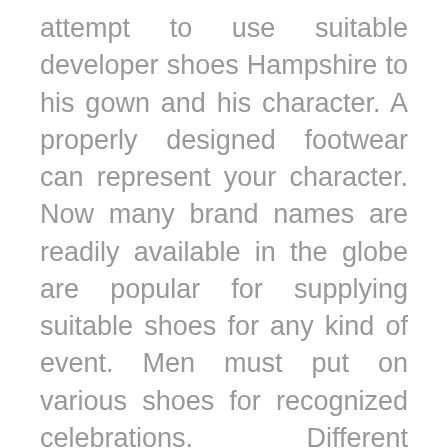attempt to use suitable developer shoes Hampshire to his gown and his character. A properly designed footwear can represent your character. Now many brand names are readily available in the globe are popular for supplying suitable shoes for any kind of event. Men must put on various shoes for recognized celebrations. Different celebrations call for various shoes.
As a wedding event is one of the most vital and amusing components of an entire life, brand names attempt to supply the newest layout for the bride-to-be and also her other half. They utilize a certified and experienced developer